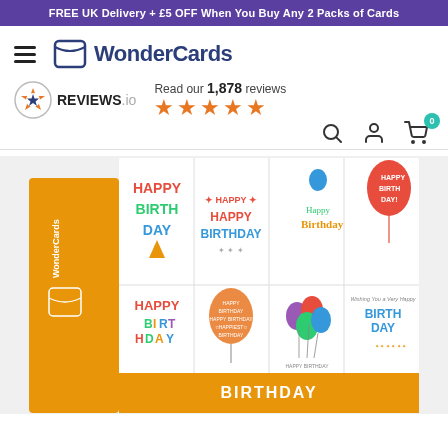FREE UK Delivery + £5 OFF When You Buy Any 2 Packs of Cards
[Figure (logo): WonderCards logo with hamburger menu icon]
[Figure (logo): REVIEWS.io badge with star rating. Read our 1,878 reviews, 4.5 stars]
[Figure (photo): WonderCards birthday card pack box showing multiple Happy Birthday card designs in a grid on the front, orange box with WonderCards branding on the side]